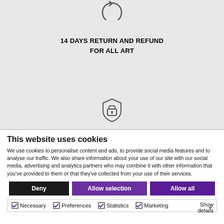[Figure (illustration): Circular arrow/return icon at top of gray section]
14 DAYS RETURN AND REFUND
FOR ALL ART
[Figure (illustration): Shield with padlock icon]
This website uses cookies
We use cookies to personalise content and ads, to provide social media features and to analyse our traffic. We also share information about your use of our site with our social media, advertising and analytics partners who may combine it with other information that you've provided to them or that they've collected from your use of their services.
Deny | Allow selection | Allow all
Necessary  Preferences  Statistics  Marketing  Show details